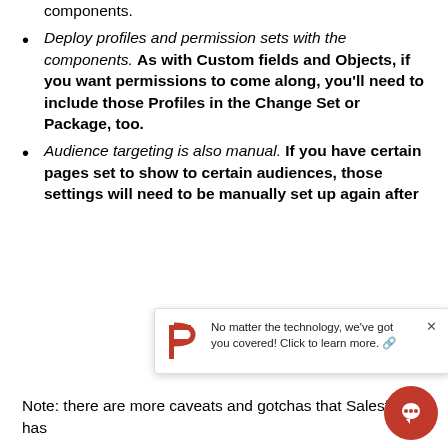components.
Deploy profiles and permission sets with the components. As with Custom fields and Objects, if you want permissions to come along, you'll need to include those Profiles in the Change Set or Package, too.
Audience targeting is also manual. If you have certain pages set to show to certain audiences, those settings will need to be manually set up again after
[Figure (infographic): Popup notification with Pexels logo (red P) and text: No matter the technology, we've got you covered! Click to learn more. With a close X button.]
Note: there are more caveats and gotchas that Salesforce has